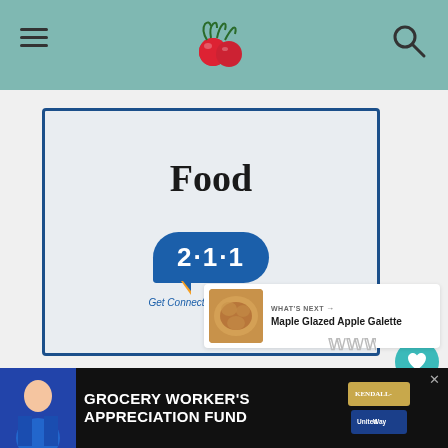[Figure (screenshot): Food category card with dark blue border on light gray background showing the word 'Food' in bold serif font and the 2·1·1 logo (blue speech bubble pill shape with '2·1·1' text) and tagline 'Get Connected. Get Help.']
[Figure (infographic): Heart/like button circle teal icon with 753 count below and share button circle below that]
[Figure (infographic): WHAT'S NEXT panel with thumbnail image of Maple Glazed Apple Galette]
[Figure (logo): Wordmark logo (looks like three W letters with degree symbol)]
[Figure (screenshot): Advertisement banner: GROCERY WORKER'S APPRECIATION FUND with person photo on left, Kendall-Jackson and United Way logos]
753